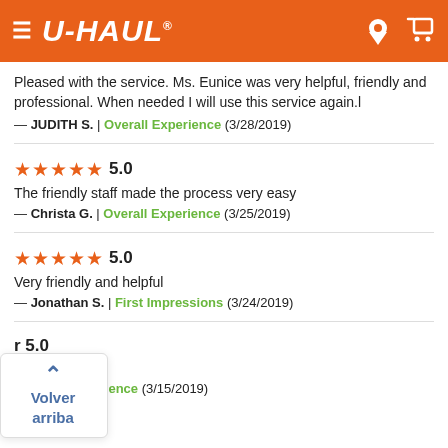U-HAUL
Pleased with the service. Ms. Eunice was very helpful, friendly and professional. When needed I will use this service again.l
— JUDITH S.  |  Overall Experience  (3/28/2019)
★★★★★ 5.0
The friendly staff made the process very easy
— Christa G.  |  Overall Experience  (3/25/2019)
★★★★★ 5.0
Very friendly and helpful
— Jonathan S.  |  First Impressions  (3/24/2019)
r 5.0
place
|  Overall Experience  (3/15/2019)
Volver arriba